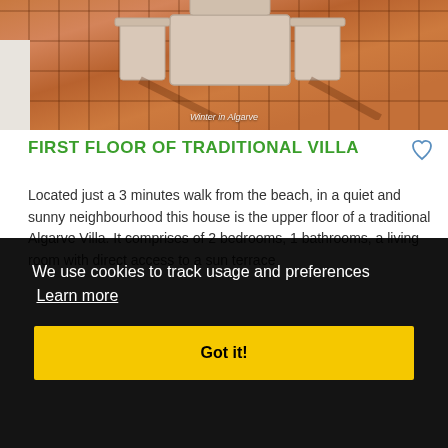[Figure (photo): Outdoor terrace with white plastic chairs and table on terracotta tile floor, with caption 'Winter in Algarve']
FIRST FLOOR OF TRADITIONAL VILLA
Located just a 3 minutes walk from the beach, in a quiet and sunny neighbourhood this house is the upper floor of a traditional Algarve Villa. It comprises of 2 bedrooms, 1 bathrooms, a living room with direct access to a sun terrace
We use cookies to track usage and preferences Learn more
Got it!